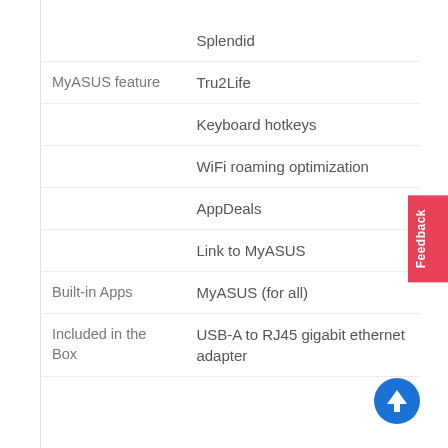| Feature | Value |
| --- | --- |
|  | Splendid |
| MyASUS feature | Tru2Life |
|  | Keyboard hotkeys |
|  | WiFi roaming optimization |
|  | AppDeals |
|  | Link to MyASUS |
| Built-in Apps | MyASUS (for all) |
| Included in the Box | USB-A to RJ45 gigabit ethernet adapter |